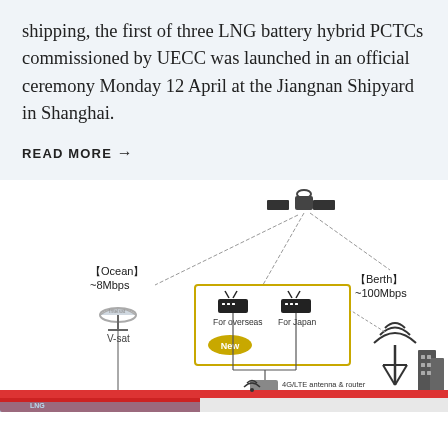shipping, the first of three LNG battery hybrid PCTCs commissioned by UECC was launched in an official ceremony Monday 12 April at the Jiangnan Shipyard in Shanghai.
READ MORE →
[Figure (schematic): Network connectivity diagram for a ship showing satellite (V-sat) for Ocean (~8Mbps), routers for overseas and Japan connections, 4G/LTE antenna & router switching, and Berth (~100Mbps) connectivity via land-based antenna tower and buildings. Labels: [Ocean] ~8Mbps, [Berth] ~100Mbps, For overseas, For Japan, New (highlighted oval), 4G/LTE antenna & router switching.]